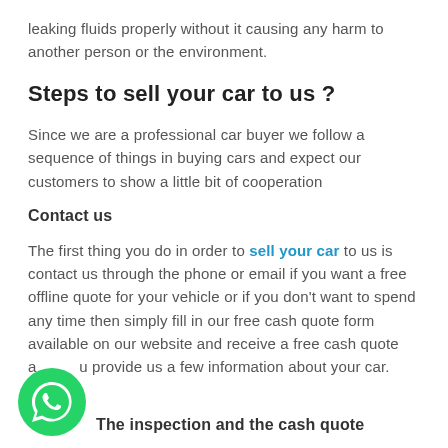leaking fluids properly without it causing any harm to another person or the environment.
Steps to sell your car to us ?
Since we are a professional car buyer we follow a sequence of things in buying cars and expect our customers to show a little bit of cooperation
Contact us
The first thing you do in order to sell your car to us is contact us through the phone or email if you want a free offline quote for your vehicle or if you don't want to spend any time then simply fill in our free cash quote form available on our website and receive a free cash quote after you provide us a few information about your car.
[Figure (illustration): Green WhatsApp phone icon/button]
The inspection and the cash quote